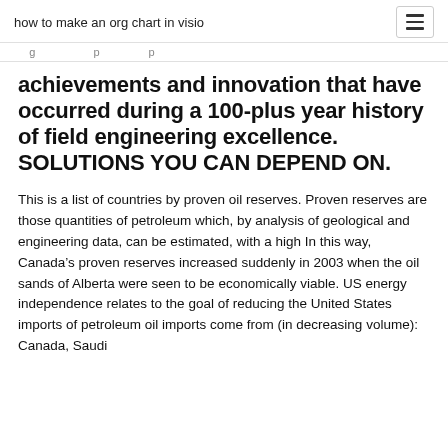how to make an org chart in visio
achievements and innovation that have occurred during a 100-plus year history of field engineering excellence. SOLUTIONS YOU CAN DEPEND ON.
This is a list of countries by proven oil reserves. Proven reserves are those quantities of petroleum which, by analysis of geological and engineering data, can be estimated, with a high In this way, Canada’s proven reserves increased suddenly in 2003 when the oil sands of Alberta were seen to be economically viable. US energy independence relates to the goal of reducing the United States imports of petroleum oil imports come from (in decreasing volume): Canada, Saudi